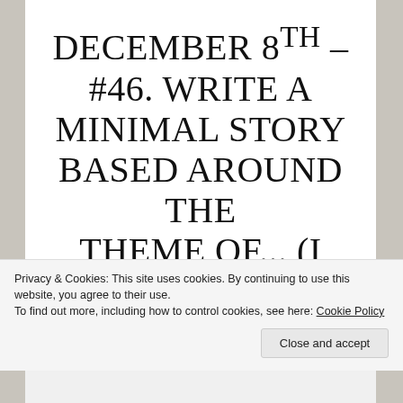December 8th – #46. Write a minimal story based around the theme of... (I chose guilt)
Jacob felt the pang of guilt as he heard his mum yelling at
Privacy & Cookies: This site uses cookies. By continuing to use this website, you agree to their use.
To find out more, including how to control cookies, see here: Cookie Policy
Close and accept